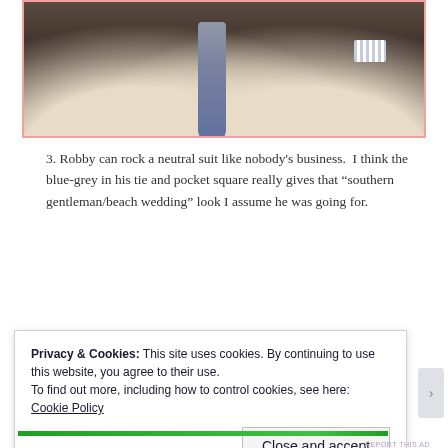[Figure (photo): A man wearing a cream/beige neutral suit with a blue-grey tie and a striped pocket square, photographed from the chest up.]
3. Robby can rock a neutral suit like nobody’s business.  I think the blue-grey in his tie and pocket square really gives that “southern gentleman/beach wedding” look I assume he was going for.
[Figure (screenshot): Advertisement bar with purple to blue gradient color.]
Privacy & Cookies: This site uses cookies. By continuing to use this website, you agree to their use.
To find out more, including how to control cookies, see here: Cookie Policy
Close and accept